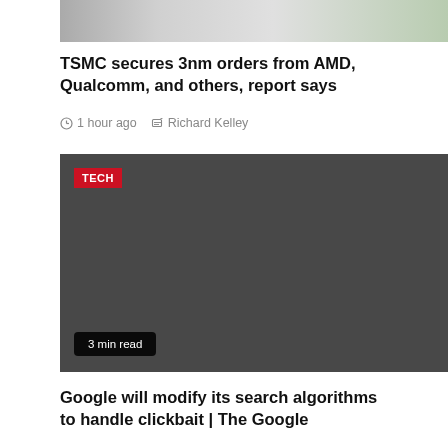[Figure (photo): Partial top image of a device or tech product, cropped at top]
TSMC secures 3nm orders from AMD, Qualcomm, and others, report says
1 hour ago  Richard Kelley
[Figure (photo): Dark grey placeholder image with TECH badge label and 3 min read badge, for a tech article]
Google will modify its search algorithms to handle clickbait | The Google